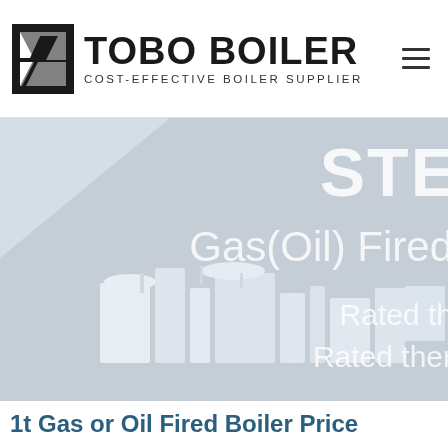[Figure (logo): Tobo Boiler logo with geometric icon and text 'TOBO BOILER / COST-EFFECTIVE BOILER SUPPLIER']
[Figure (photo): Hero image showing a gas/oil fired steam boiler product on a gray background with overlaid text: 'STE...', 'Gas(Oil) Fired...', 'Rated th...', 'Rated ther...' (text partially cut off on right edge)]
1t Gas or Oil Fired Boiler Price